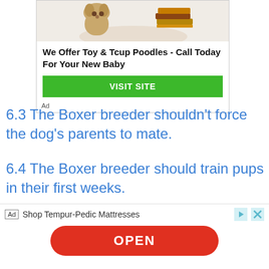[Figure (photo): Advertisement box with a dog photo at top, bold text 'We Offer Toy & Tcup Poodles - Call Today For Your New Baby', a green VISIT SITE button, and an Ad label at bottom.]
We Offer Toy & Tcup Poodles - Call Today For Your New Baby
VISIT SITE
Ad
6.3 The Boxer breeder shouldn't force the dog's parents to mate.
6.4 The Boxer breeder should train pups in their first weeks.
6.5 The Boxer breeder would continuously be in touch.
7 Other states
[Figure (infographic): Bottom advertisement bar: Ad badge, 'Shop Tempur-Pedic Mattresses' text, navigation controls, and a red OPEN button.]